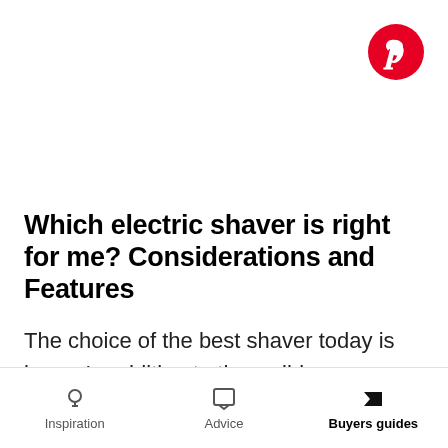[Figure (logo): Pinterest circular logo button, pink/red background with white P icon, top right corner]
Which electric shaver is right for me? Considerations and Features
The choice of the best shaver today is huge. In addition to the well-known brands such as Philips, Braun and Remington, there are many brands and
Inspiration | Advice | Buyers guides